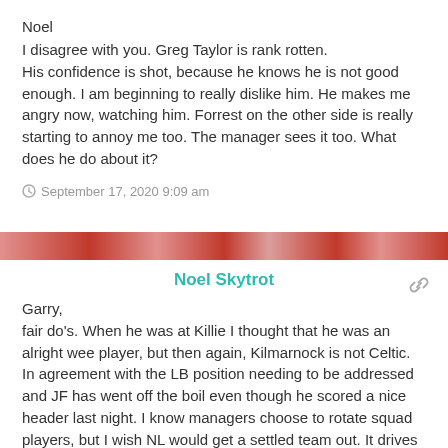Noel
I disagree with you. Greg Taylor is rank rotten. His confidence is shot, because he knows he is not good enough. I am beginning to really dislike him. He makes me angry now, watching him. Forrest on the other side is really starting to annoy me too. The manager sees it too. What does he do about it?
September 17, 2020 9:09 am
Noel Skytrot
Garry,
fair do's. When he was at Killie I thought that he was an alright wee player, but then again, Kilmarnock is not Celtic. In agreement with the LB position needing to be addressed and JF has went off the boil even though he scored a nice header last night. I know managers choose to rotate squad players, but I wish NL would get a settled team out. It drives me up the lum.